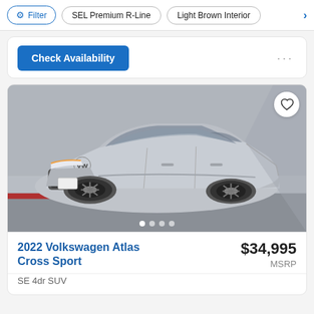Filter | SEL Premium R-Line | Light Brown Interior
Check Availability
[Figure (photo): Silver 2022 Volkswagen Atlas Cross Sport SE 4dr SUV parked in front of a concrete wall, front three-quarter view]
2022 Volkswagen Atlas Cross Sport
$34,995 MSRP
SE 4dr SUV